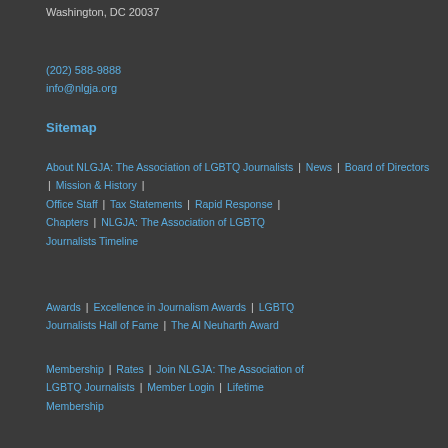2120 L Street, NW Suite 850
Washington, DC 20037
(202) 588-9888
info@nlgja.org
Sitemap
About NLGJA: The Association of LGBTQ Journalists | News | Board of Directors | Mission & History | Office Staff | Tax Statements | Rapid Response | Chapters | NLGJA: The Association of LGBTQ Journalists Timeline
Awards | Excellence in Journalism Awards | LGBTQ Journalists Hall of Fame | The Al Neuharth Award
Membership | Rates | Join NLGJA: The Association of LGBTQ Journalists | Member Login | Lifetime Membership